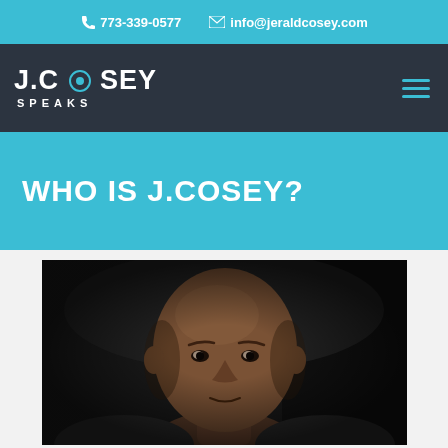📞 773-339-0577   ✉ info@jeraldcosey.com
[Figure (logo): J.COSEY SPEAKS logo in white text on dark navy background]
WHO IS J.COSEY?
[Figure (photo): Professional headshot of a bald Black man in a dark studio setting, looking forward with a serious expression]